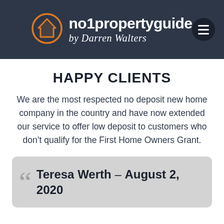no1propertyguide by Darren Walters
HAPPY CLIENTS
We are the most respected no deposit new home company in the country and have now extended our service to offer low deposit to customers who don't qualify for the First Home Owners Grant.
Teresa Werth – August 2, 2020